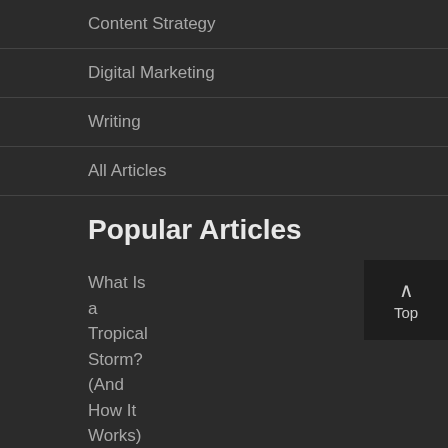Content Strategy
Digital Marketing
Writing
All Articles
Popular Articles
What Is a Tropical Storm? (And How It Works) →
How to Read an Excel File in C Sharp →
How to Get Perfect Skin: 5 Important Tips →
Are Documentary Films Documentary Are